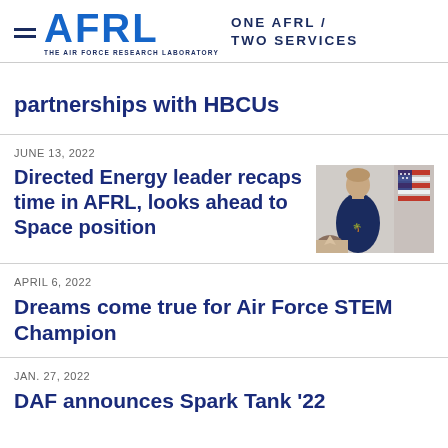AFRL — ONE AFRL / TWO SERVICES — THE AIR FORCE RESEARCH LABORATORY
partnerships with HBCUs
JUNE 13, 2022
Directed Energy leader recaps time in AFRL, looks ahead to Space position
[Figure (photo): A man in a navy blue polo shirt with a palm tree logo speaking, with an American flag visible in the background. Another person's head is visible in the foreground.]
APRIL 6, 2022
Dreams come true for Air Force STEM Champion
JAN. 27, 2022
DAF announces Spark Tank '22